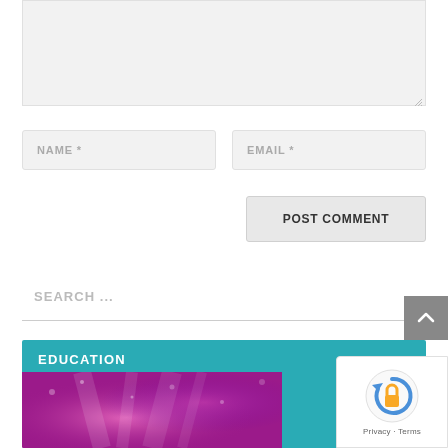[Figure (screenshot): Textarea comment input field with light gray background and resize handle in bottom right corner]
NAME *
EMAIL *
POST COMMENT
SEARCH ...
EDUCATION
[Figure (illustration): Purple and pink background with light rays/bokeh effects]
[Figure (logo): reCAPTCHA logo with Privacy - Terms text]